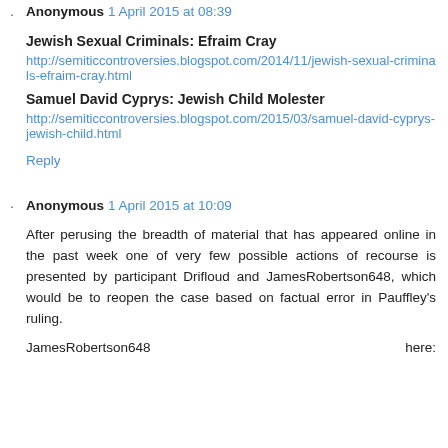Anonymous  1 April 2015 at 08:39
Jewish Sexual Criminals: Efraim Cray
http://semiticcontroversies.blogspot.com/2014/11/jewish-sexual-criminals-efraim-cray.html
Samuel David Cyprys: Jewish Child Molester
http://semiticcontroversies.blogspot.com/2015/03/samuel-david-cyprys-jewish-child.html
Reply
Anonymous  1 April 2015 at 10:09
After perusing the breadth of material that has appeared online in the past week one of very few possible actions of recourse is presented by participant Drifloud and JamesRobertson648, which would be to reopen the case based on factual error in Pauffley's ruling.
JamesRobertson648    here: